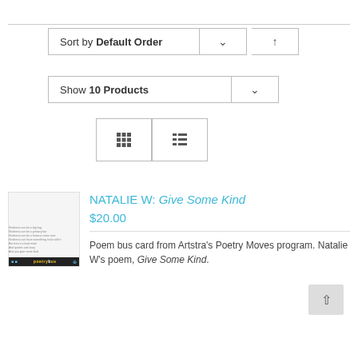[Figure (screenshot): E-commerce sorting controls: Sort by Default Order dropdown with chevron and up-arrow button]
[Figure (screenshot): Show 10 Products dropdown with chevron button]
[Figure (screenshot): Grid and list view toggle buttons]
[Figure (photo): Thumbnail of poetry bus card product showing poem text and poetrybus logo bar]
NATALIE W: Give Some Kind
$20.00
Poem bus card from Artstra's Poetry Moves program. Natalie W's poem, Give Some Kind.